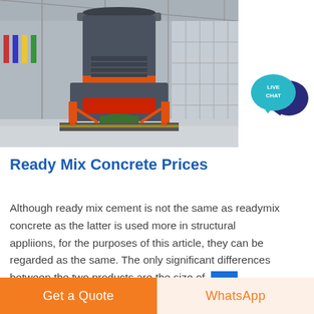[Figure (photo): Large industrial grinding mill machine inside a warehouse/factory building, grey cylindrical tower structure with orange accents and red machinery parts, flags visible in background]
[Figure (logo): Live Chat bubble icon - teal speech bubble with LIVE CHAT text and dark blue speech bubble behind]
Ready Mix Concrete Prices
Although ready mix cement is not the same as readymix concrete as the latter is used more in structural appliions, for the purposes of this article, they can be regarded as the same. The only significant differences between the two products are the size of.